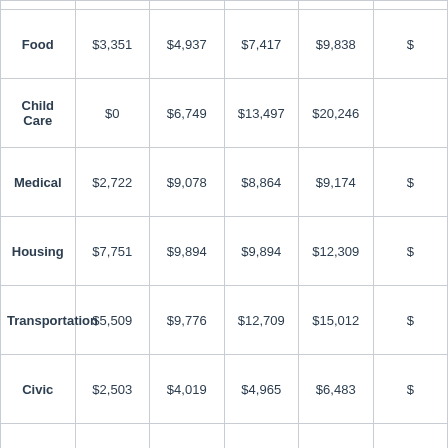| Category | Col1 | Col2 | Col3 | Col4 | Col5(partial) |
| --- | --- | --- | --- | --- | --- |
| Food | $3,351 | $4,937 | $7,417 | $9,838 | $ |
| Child Care | $0 | $6,749 | $13,497 | $20,246 |  |
| Medical | $2,722 | $9,078 | $8,864 | $9,174 | $ |
| Housing | $7,751 | $9,894 | $9,894 | $12,309 | $ |
| Transportation | $5,509 | $9,776 | $12,709 | $15,012 | $ |
| Civic | $2,503 | $4,019 | $4,965 | $6,483 | $ |
| Other | $4,508 | $6,723 | $6,150 | $8,948 | $ |
| Required annual income after taxes | $26,467 | $51,298 | $63,620 | $82,133 | $ |
| Annual taxes | $5,790 | $12,784 | $15,855 | $20,469 | $ |
| Required |  |  |  |  |  |